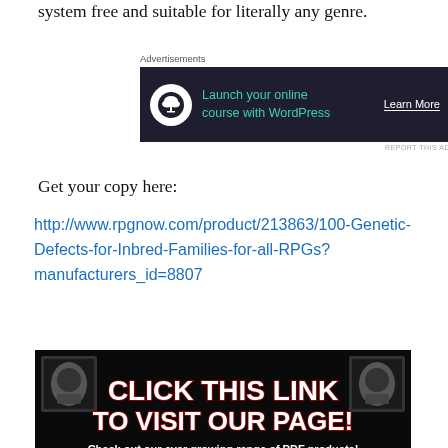system free and suitable for literally any genre.
Advertisements
[Figure (screenshot): Dark-themed advertisement banner: 'Launch your online course with WordPress — Learn More' with a tree/bonsai icon on white circle background.]
Get your copy here:
http://www.rpgnow.com/product/213863/100-Genetic-Defects-for-Inbred-Families-for-all-RPGs?manufacturers_id=8807
[Figure (other): Black banner with red and white bold text: 'CLICK THIS LINK TO VISIT OUR PAGE! Check out our ever growing range of PDF products!' with decorative stamp images on left and right corners.]
Also, check out our ever growing range of downloadable PDF hobby products here: